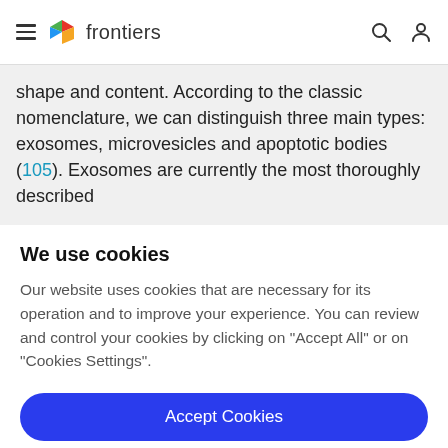frontiers
shape and content. According to the classic nomenclature, we can distinguish three main types: exosomes, microvesicles and apoptotic bodies (105). Exosomes are currently the most thoroughly described
We use cookies
Our website uses cookies that are necessary for its operation and to improve your experience. You can review and control your cookies by clicking on "Accept All" or on "Cookies Settings".
Accept Cookies
Cookies Settings